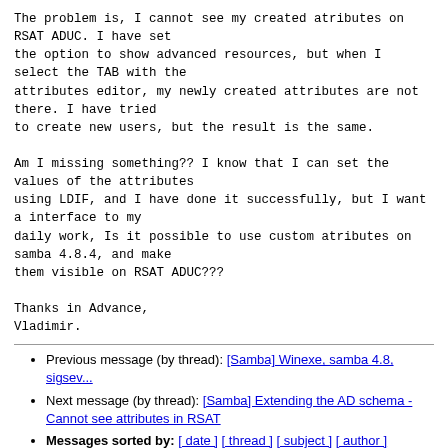The problem is, I cannot see my created atributes on
RSAT ADUC. I have set
the option to show advanced resources, but when I
select the TAB with the
attributes editor, my newly created attributes are not
there. I have tried
to create new users, but the result is the same.

Am I missing something?? I know that I can set the
values of the attributes
using LDIF, and I have done it successfully, but I want
a interface to my
daily work, Is it possible to use custom atributes on
samba 4.8.4, and make
them visible on RSAT ADUC???

Thanks in Advance,
Vladimir.
Previous message (by thread): [Samba] Winexe, samba 4.8, sigsev...
Next message (by thread): [Samba] Extending the AD schema - Cannot see attributes in RSAT
Messages sorted by: [ date ] [ thread ] [ subject ] [ author ]
More information about the samba mailing list